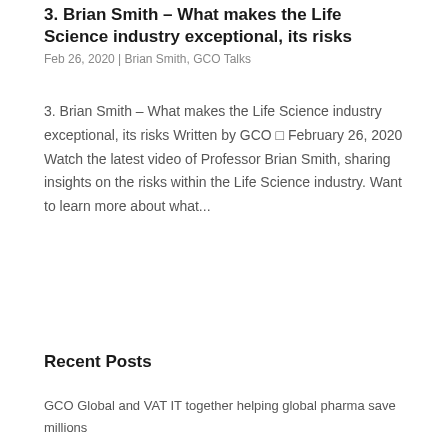3. Brian Smith – What makes the Life Science industry exceptional, its risks
Feb 26, 2020 | Brian Smith, GCO Talks
3. Brian Smith – What makes the Life Science industry exceptional, its risks Written by GCO □ February 26, 2020 Watch the latest video of Professor Brian Smith, sharing insights on the risks within the Life Science industry. Want to learn more about what...
[Figure (other): Search bar with text input field and dark blue Search button, and a grey scroll-to-top arrow button on the right]
Recent Posts
GCO Global and VAT IT together helping global pharma save millions